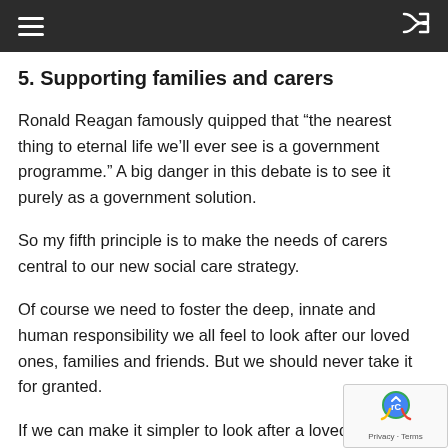5. Supporting families and carers
Ronald Reagan famously quipped that “the nearest thing to eternal life we’ll ever see is a government programme.” A big danger in this debate is to see it purely as a government solution.
So my fifth principle is to make the needs of carers central to our new social care strategy.
Of course we need to foster the deep, innate and human responsibility we all feel to look after our loved ones, families and friends. But we should never take it for granted.
If we can make it simpler to look after a loved one, if we can make it easier to juggle working and caring responsibilities, if we can encourage volunteering –